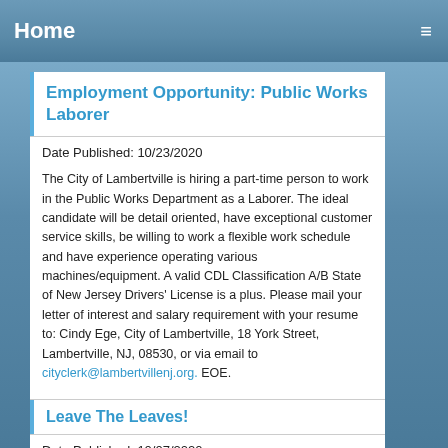Home
Employment Opportunity: Public Works Laborer
Date Published: 10/23/2020
The City of Lambertville is hiring a part-time person to work in the Public Works Department as a Laborer. The ideal candidate will be detail oriented, have exceptional customer service skills, be willing to work a flexible work schedule and have experience operating various machines/equipment. A valid CDL Classification A/B State of New Jersey Drivers' License is a plus. Please mail your letter of interest and salary requirement with your resume to: Cindy Ege, City of Lambertville, 18 York Street, Lambertville, NJ, 08530, or via email to cityclerk@lambertvillenj.org. EOE.
Leave The Leaves!
Date Published: 10/07/2020
Lambertville Goes Wild and the Environmental